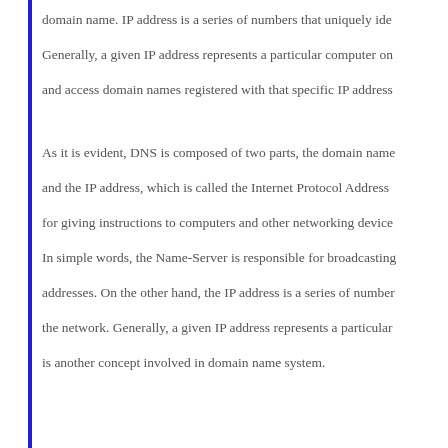domain name. IP address is a series of numbers that uniquely ide...
Generally, a given IP address represents a particular computer on...
and access domain names registered with that specific IP address...
As it is evident, DNS is composed of two parts, the domain name...
and the IP address, which is called the Internet Protocol Address...
for giving instructions to computers and other networking device...
In simple words, the Name-Server is responsible for broadcasting...
addresses. On the other hand, the IP address is a series of number...
the network. Generally, a given IP address represents a particular...
is another concept involved in domain name system.